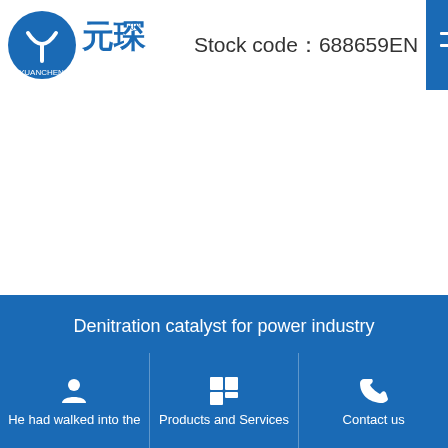Stock code：688659  EN
[Figure (logo): Yuanchen logo — blue circle with Y shape and Chinese characters 元琛, YUANCHEN below]
Denitration catalyst for power industry
hot search： catalyst Denitration catalyst
He had walked into the | Products and Services | Contact us